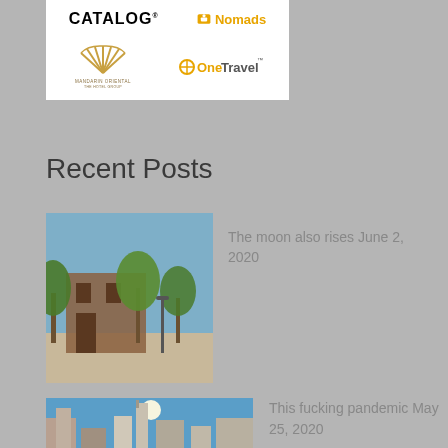[Figure (logo): Logo banner with CATALOG text, Nomads logo (bell icon), Mandarin Oriental fan logo, and OneTravel logo]
Recent Posts
[Figure (photo): Outdoor plaza with trees and a historic building under blue sky]
The moon also rises June 2, 2020
[Figure (photo): City skyline with a tower and modern buildings under bright sky]
This fucking pandemic May 25, 2020